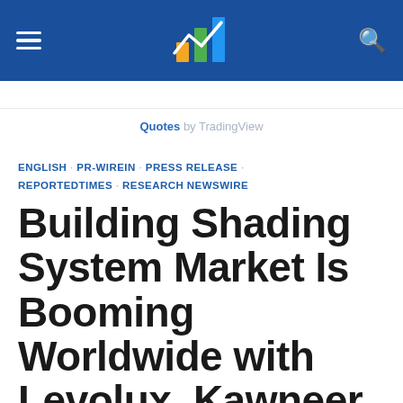Quotes by TradingView
ENGLISH · PR-WIREIN · PRESS RELEASE · REPORTEDTIMES · RESEARCH NEWSWIRE
Building Shading System Market Is Booming Worldwide with Levolux, Kawneer, Rainier